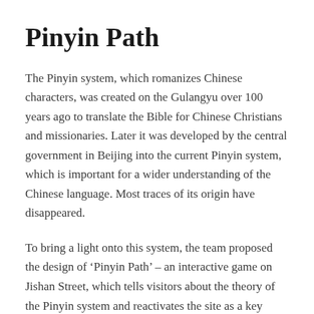Pinyin Path
The Pinyin system, which romanizes Chinese characters, was created on the Gulangyu over 100 years ago to translate the Bible for Chinese Christians and missionaries. Later it was developed by the central government in Beijing into the current Pinyin system, which is important for a wider understanding of the Chinese language. Most traces of its origin have disappeared.
To bring a light onto this system, the team proposed the design of ‘Pinyin Path’ – an interactive game on Jishan Street, which tells visitors about the theory of the Pinyin system and reactivates the site as a key expression of the